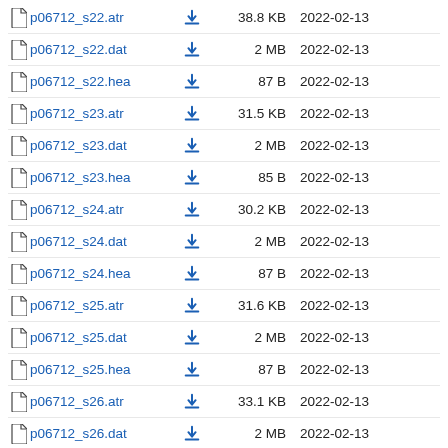p06712_s22.atr  38.8 KB  2022-02-13
p06712_s22.dat  2 MB  2022-02-13
p06712_s22.hea  87 B  2022-02-13
p06712_s23.atr  31.5 KB  2022-02-13
p06712_s23.dat  2 MB  2022-02-13
p06712_s23.hea  85 B  2022-02-13
p06712_s24.atr  30.2 KB  2022-02-13
p06712_s24.dat  2 MB  2022-02-13
p06712_s24.hea  87 B  2022-02-13
p06712_s25.atr  31.6 KB  2022-02-13
p06712_s25.dat  2 MB  2022-02-13
p06712_s25.hea  87 B  2022-02-13
p06712_s26.atr  33.1 KB  2022-02-13
p06712_s26.dat  2 MB  2022-02-13